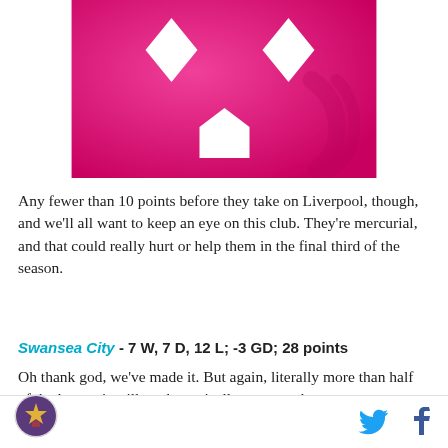[Figure (illustration): Pink/magenta background graphic with two white diamond shapes at top left and top right, and a white pentagon/home plate shape in the center-bottom area. A faint ribbon watermark is visible on the right side.]
Any fewer than 10 points before they take on Liverpool, though, and we'll all want to keep an eye on this club. They're mercurial, and that could really hurt or help them in the final third of the season.
Swansea City - 7 W, 7 D, 12 L; -3 GD; 28 points
Oh thank god, we've made it. But again, literally more than half of the league is still mathematically very much